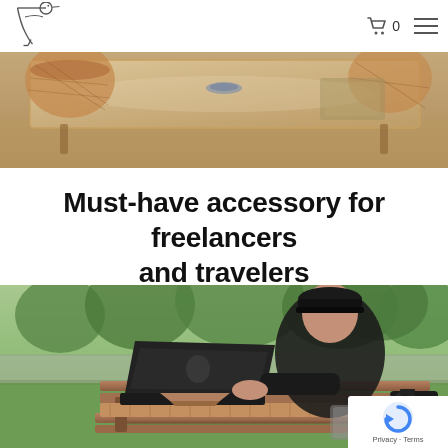Bird logo, cart icon (0), hamburger menu
[Figure (photo): Top-down view of a glass cafe table with wicker chairs and a small dish, warm golden tones]
Must-have accessory for freelancers and travelers
[Figure (photo): Young man wearing a black cap and black t-shirt, sitting on a wooden park bench, working on a MacBook laptop with a camera on the table, green trees in background]
Privacy · Terms